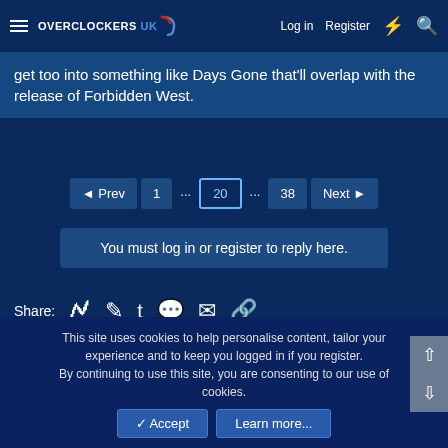Overclockers UK — Log in  Register
get too into something like Days Gone that'll overlap with the release of Forbidden West.
◄ Prev  1  ...  20  ...  38  Next ►
You must log in or register to reply here.
Share:
Forums › Games › Console Games & Hardware ›
🔗 Classic Blue
↑ Top   Contact us   Terms and rules   Privacy policy   Help   Home
This site uses cookies to help personalise content, tailor your experience and to keep you logged in if you register. By continuing to use this site, you are consenting to our use of cookies.
✓ Accept   Learn more...